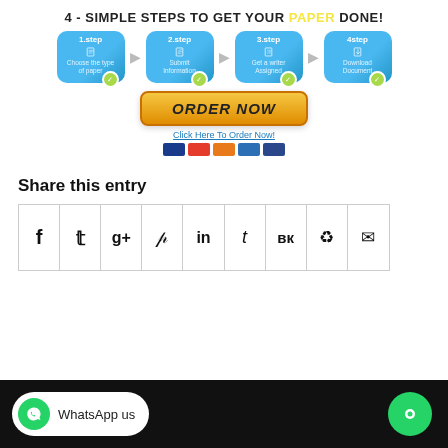[Figure (infographic): 4 simple steps to get your paper done infographic with blue step boxes, ORDER NOW button, and payment icons]
Share this entry
[Figure (infographic): Social sharing icons grid: Facebook, Twitter, Google+, Pinterest, LinkedIn, Tumblr, VK, Reddit, Email]
[Figure (infographic): Bottom bar with WhatsApp us button and green chat button]